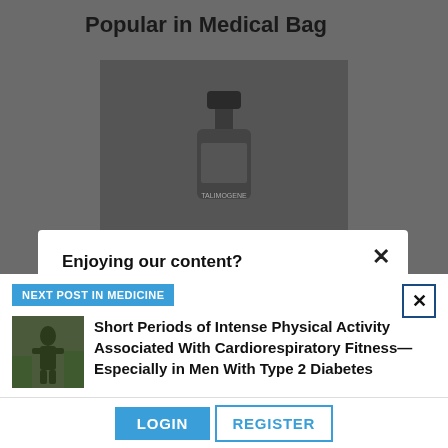Popular in Medical Bag
[Figure (photo): Dark background image of a Talimogene medication vial/bottle on a grey surface]
Enjoying our content?
Thanks for visiting The Medical Bag. We hope you're enjoying the latest health care news coverage, and lifestyle and business advice.
NEXT POST IN MEDICINE
[Figure (photo): Small thumbnail image of a person exercising outdoors in nature]
Short Periods of Intense Physical Activity Associated With Cardiorespiratory Fitness—Especially in Men With Type 2 Diabetes
LOGIN   REGISTER